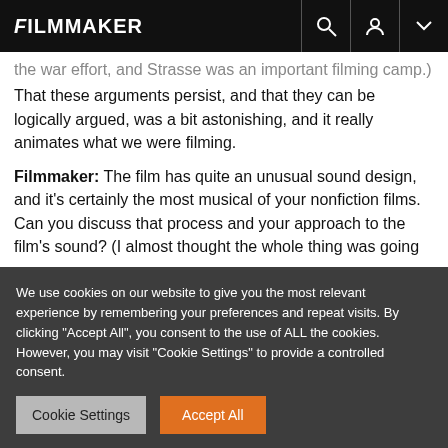FILMMAKER
the war effort, and Strasse was an important filming camp.) That these arguments persist, and that they can be logically argued, was a bit astonishing, and it really animates what we were filming.
Filmmaker: The film has quite an unusual sound design, and it’s certainly the most musical of your nonfiction films. Can you discuss that process and your approach to the film’s sound? (I almost thought the whole thing was going
We use cookies on our website to give you the most relevant experience by remembering your preferences and repeat visits. By clicking “Accept All”, you consent to the use of ALL the cookies. However, you may visit “Cookie Settings” to provide a controlled consent.